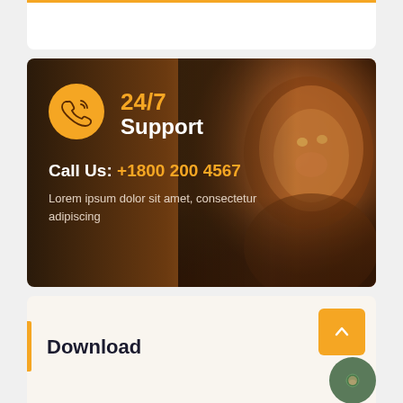[Figure (illustration): 24/7 Support banner with lion background image. Shows a phone icon in an orange circle, '24/7' in orange text and 'Support' in white bold text, 'Call Us: +1800 200 4567' with the number in orange, and Lorem ipsum placeholder text below. A lion photograph appears on the right side of the banner.]
Download